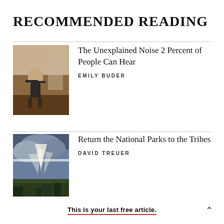RECOMMENDED READING
[Figure (photo): Person standing in a room, appears to be moving or dancing, indoor setting with furniture and curtains]
The Unexplained Noise 2 Percent of People Can Hear
EMILY BUDER
[Figure (photo): Dramatic sky with sunbeams breaking through clouds over a mountain landscape with dark trees]
Return the National Parks to the Tribes
DAVID TREUER
This is your last free article.